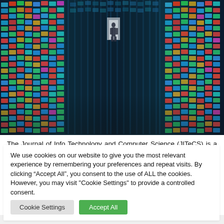[Figure (photo): A dramatic wide-angle photo of a massive LED video wall or digital screen room with thousands of colorful screen tiles curving around, with a person silhouetted in the center.]
The Journal of Info Technology and Computer Science (JITeCS) is a peer-reviewed open access journal published by Faculty of Computer Science, Universitas Brawijaya (UB), Indonesia. ABOUT THE SPEAKER: Michal Drozdzal is a postdoctoral researcher at the Montreal Institute for
We use cookies on our website to give you the most relevant experience by remembering your preferences and repeat visits. By clicking “Accept All”, you consent to the use of ALL the cookies. However, you may visit "Cookie Settings" to provide a controlled consent.